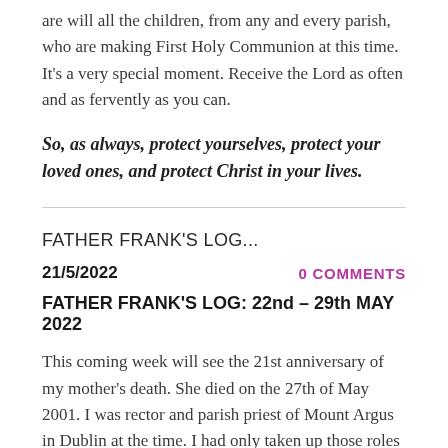are will all the children, from any and every parish, who are making First Holy Communion at this time. It's a very special moment. Receive the Lord as often and as fervently as you can.
So, as always, protect yourselves, protect your loved ones, and protect Christ in your lives.
FATHER FRANK'S LOG...
21/5/2022
0 COMMENTS
FATHER FRANK'S LOG: 22nd – 29th MAY 2022
This coming week will see the 21st anniversary of my mother's death. She died on the 27th of May 2001. I was rector and parish priest of Mount Argus in Dublin at the time. I had only taken up those roles the previous January,